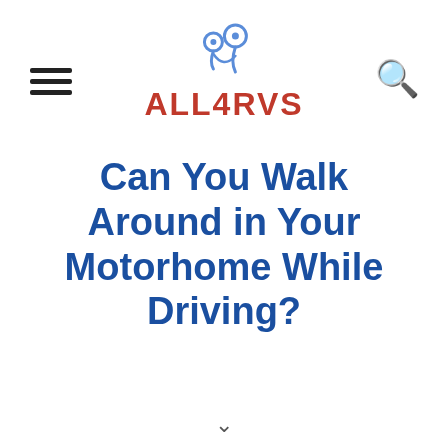ALL4RVS
Can You Walk Around in Your Motorhome While Driving?